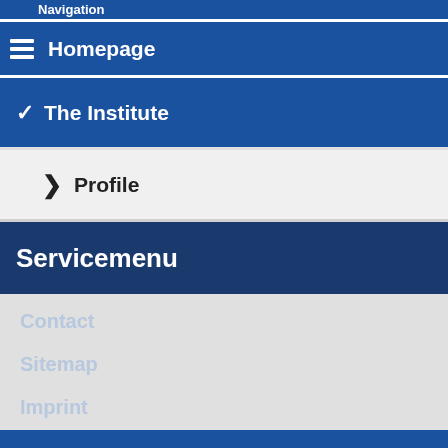Navigation
Homepage
The Institute
Profile
Servicemenu
Contact
Sitemap
Imprint
Data Privacy Statement
Deutsch